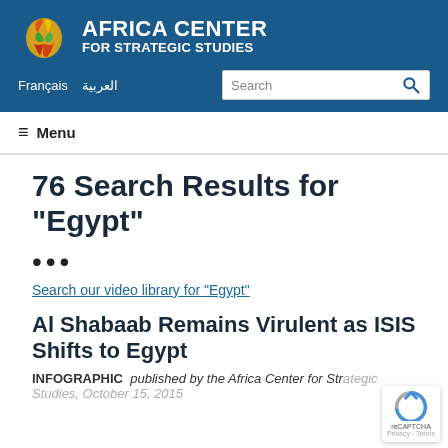[Figure (logo): Africa Center for Strategic Studies logo with colorful Africa map silhouette and text]
Français  العربية
Search
≡  Menu
76 Search Results for "Egypt"
•••
Search our video library for "Egypt"
Al Shabaab Remains Virulent as ISIS Shifts to Egypt
INFOGRAPHIC   published by the Africa Center for Strategic Studies, October 15, 2015